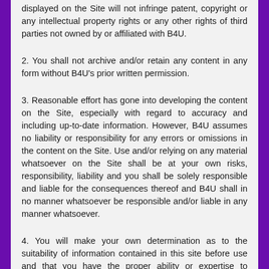displayed on the Site will not infringe patent, copyright or any intellectual property rights or any other rights of third parties not owned by or affiliated with B4U.
2. You shall not archive and/or retain any content in any form without B4U's prior written permission.
3. Reasonable effort has gone into developing the content on the Site, especially with regard to accuracy and including up-to-date information. However, B4U assumes no liability or responsibility for any errors or omissions in the content on the Site. Use and/or relying on any material whatsoever on the Site shall be at your own risks, responsibility, liability and you shall be solely responsible and liable for the consequences thereof and B4U shall in no manner whatsoever be responsible and/or liable in any manner whatsoever.
4. You will make your own determination as to the suitability of information contained in this site before use and that you have the proper ability or expertise to properly evaluate and use that information. Your use and browsing of the Site is at your own risk.